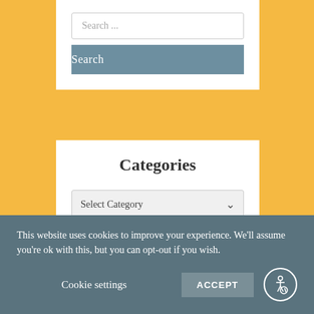[Figure (screenshot): Search input box with placeholder text 'Search ...']
[Figure (screenshot): Blue-gray Search button]
Categories
[Figure (screenshot): Select Category dropdown widget]
This website uses cookies to improve your experience. We'll assume you're ok with this, but you can opt-out if you wish.
Cookie settings
ACCEPT